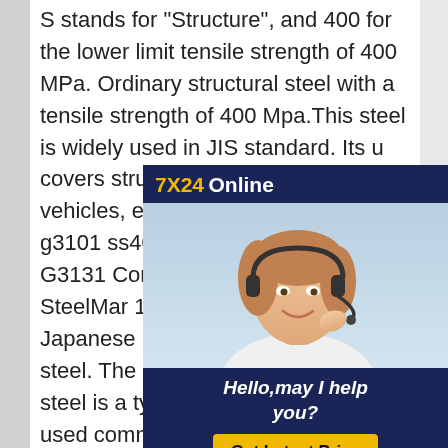S stands for "Structure", and 400 for the lower limit tensile strength of 400 MPa. Ordinary structural steel with a tensile strength of 400 Mpa.This steel is widely used in JIS standard. Its u covers structures such as bridges vehicles, etc., in the shape jis sta g3101 ss400 specificationSPHC JIS G3131 Commercial Hot Rolle SteelMar 11, 2012JIS G 3131 is a Japanese material standard for h steel. The commercial quality hot steel is a type of steel that can be used commercially for forming purposes that can also include sharing of a metallic sheet. SM570 Steel is also hot roll steel but it is specifically used for welded structures because of high material strength.
[Figure (other): Advertisement overlay showing '7X24 Online' text in yellow and white on dark blue background, a photo of a woman wearing a headset (customer service representative), and a 'Hello, may I help you?' message with a 'Get Latest Price' button in yellow.]